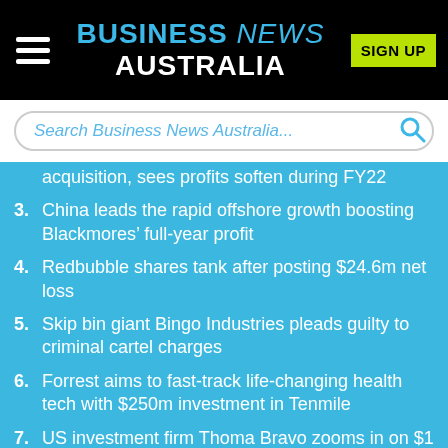BUSINESS NEWS AUSTRALIA
Search Business News Australia...
acquisition, sees profits soften during FY22
3. China leads the rapid offshore growth boosting Blackmores’ full-year profit
4. Redbubble shares tank after posting $24.6m net loss
5. Skip bin giant Bingo Industries pleads guilty to criminal cartel charges
6. Forrest aims to fast-track life-changing health tech with $250m investment in Tenmile
7. US investment firm Thoma Bravo zooms in on $1 billion deal for Nearmap
8. Adore Beauty CEO Tennealle O’Shannessy tenders resignation